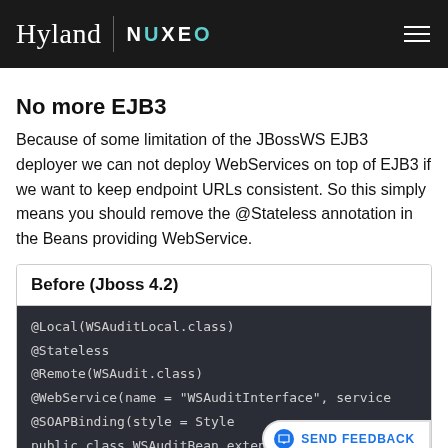Hyland | NUXEO
No more EJB3
Because of some limitation of the JBossWS EJB3 deployer we can not deploy WebServices on top of EJB3 if we want to keep endpoint URLs consistent. So this simply means you should remove the @Stateless annotation in the Beans providing WebService.
Before (Jboss 4.2)
@Local(WSAuditLocal.class)
@Stateless
@Remote(WSAudit.class)
@WebService(name = "WSAuditInterface", service
@SOAPBinding(style = Style
public class WSAuditBean extends AbstractNuxeo